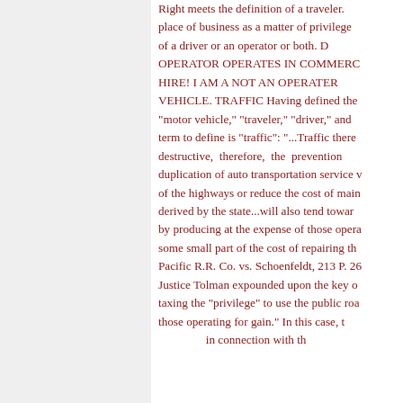Right meets the definition of a traveler. place of business as a matter of privilege of a driver or an operator or both. OPERATOR OPERATES IN COMMERCE FOR HIRE! I AM A NOT AN OPERATER OF A MOTOR VEHICLE. TRAFFIC Having defined the "motor vehicle," "traveler," "driver," and term to define is "traffic": "...Traffic therefore is destructive, therefore, the prevention of duplication of auto transportation service will of the highways or reduce the cost of main derived by the state...will also tend toward by producing at the expense of those operating some small part of the cost of repairing the Pacific R.R. Co. vs. Schoenfeldt, 213 P. 26 Justice Tolman expounded upon the key of taxing the "privilege" to use the public road those operating for gain." In this case, those operating in connection with the